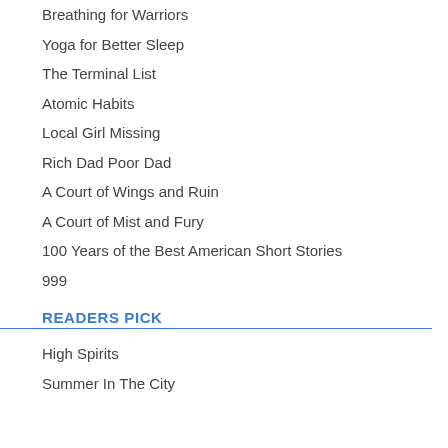Breathing for Warriors
Yoga for Better Sleep
The Terminal List
Atomic Habits
Local Girl Missing
Rich Dad Poor Dad
A Court of Wings and Ruin
A Court of Mist and Fury
100 Years of the Best American Short Stories
999
READERS PICK
High Spirits
Summer In The City